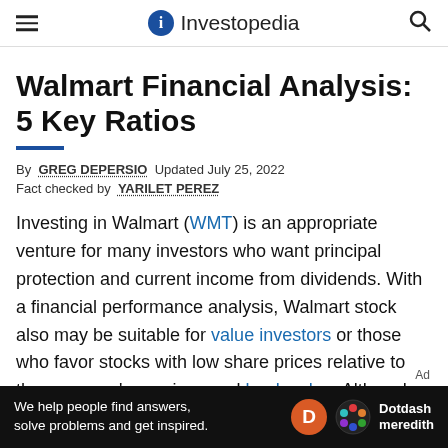Investopedia
Walmart Financial Analysis: 5 Key Ratios
By GREG DEPERSIO Updated July 25, 2022
Fact checked by YARILET PEREZ
Investing in Walmart (WMT) is an appropriate venture for many investors who want principal protection and current income from dividends. With a financial performance analysis, Walmart stock also may be suitable for value investors or those who favor stocks with low share prices relative to the company's earnings and book value. Although Walmart has
[Figure (other): Dotdash Meredith advertisement banner: 'We help people find answers, solve problems and get inspired.']